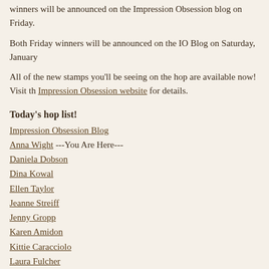winners will be announced on the Impression Obsession blog on Friday.
Both Friday winners will be announced on the IO Blog on Saturday, January
All of the new stamps you'll be seeing on the hop are available now! Visit th Impression Obsession website for details.
Today's hop list!
Impression Obsession Blog
Anna Wight ---You Are Here---
Daniela Dobson
Dina Kowal
Ellen Taylor
Jeanne Streiff
Jenny Gropp
Karen Amidon
Kittie Caracciolo
Laura Fulcher
Vicki Garrett
January 06, 2015 in Card Designs, Impression Obsession, ShinHan Touch